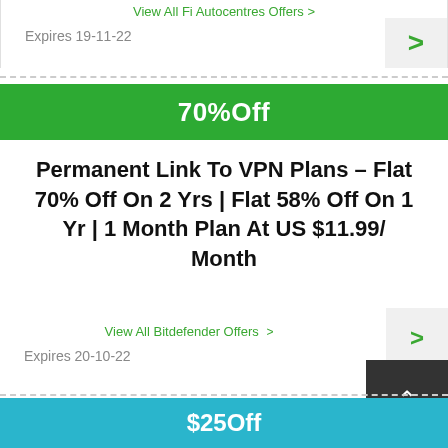View All Fi Autocentres Offers >
Expires 19-11-22
70%Off
Permanent Link To VPN Plans – Flat 70% Off On 2 Yrs | Flat 58% Off On 1 Yr | 1 Month Plan At US $11.99/ Month
View All Bitdefender Offers >
Expires 20-10-22
$25Off